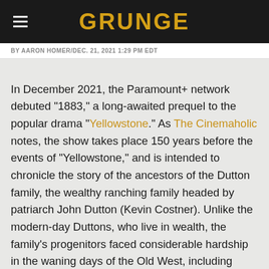GRUNGE
BY AARON HOMER / DEC. 21, 2021 1:29 PM EDT
In December 2021, the Paramount+ network debuted "1883," a long-awaited prequel to the popular drama "Yellowstone." As The Cinemaholic notes, the show takes place 150 years before the events of "Yellowstone," and is intended to chronicle the story of the ancestors of the Dutton family, the wealthy ranching family headed by patriarch John Dutton (Kevin Costner). Unlike the modern-day Duttons, who live in wealth, the family's progenitors faced considerable hardship in the waning days of the Old West, including smallpox outbreaks and battles with Native Americans.